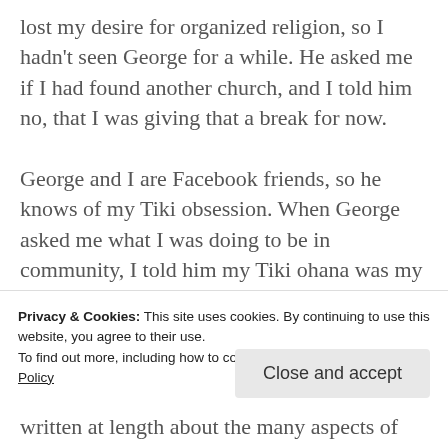lost my desire for organized religion, so I hadn't seen George for a while. He asked me if I had found another church, and I told him no, that I was giving that a break for now.

George and I are Facebook friends, so he knows of my Tiki obsession. When George asked me what I was doing to be in community, I told him my Tiki ohana was my community. He asked me to explain that to him, and I tried the best I could before the concert started and we shifted our focus to the music. I'm afraid my explanation must
Privacy & Cookies: This site uses cookies. By continuing to use this website, you agree to their use.
To find out more, including how to control cookies, see here: Cookie Policy
Close and accept
written at length about the many aspects of